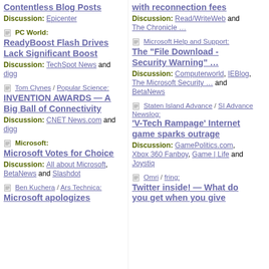Contentless Blog Posts — Discussion: Epicenter
PC World: ReadyBoost Flash Drives Lack Significant Boost — Discussion: TechSpot News and digg
Tom Clynes / Popular Science: INVENTION AWARDS — A Big Ball of Connectivity — Discussion: CNET News.com and digg
Microsoft: Microsoft Votes for Choice — Discussion: All about Microsoft, BetaNews and Slashdot
Ben Kuchera / Ars Technica: Microsoft apologizes
with reconnection fees — Discussion: Read/WriteWeb and The Chronicle …
Microsoft Help and Support: The "File Download - Security Warning" … — Discussion: Computerworld, IEBlog, The Microsoft Security … and BetaNews
Staten Island Advance / SI Advance Newslog: 'V-Tech Rampage' Internet game sparks outrage — Discussion: GamePolitics.com, Xbox 360 Fanboy, Game | Life and Joystiq
Omri / fring: Twitter inside! — What do you get when you give